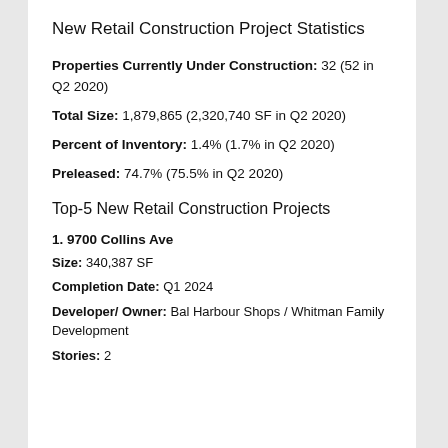New Retail Construction Project Statistics
Properties Currently Under Construction: 32 (52 in Q2 2020)
Total Size: 1,879,865 (2,320,740 SF in Q2 2020)
Percent of Inventory: 1.4% (1.7% in Q2 2020)
Preleased: 74.7% (75.5% in Q2 2020)
Top-5 New Retail Construction Projects
1. 9700 Collins Ave
Size: 340,387 SF
Completion Date: Q1 2024
Developer/ Owner: Bal Harbour Shops / Whitman Family Development
Stories: 2